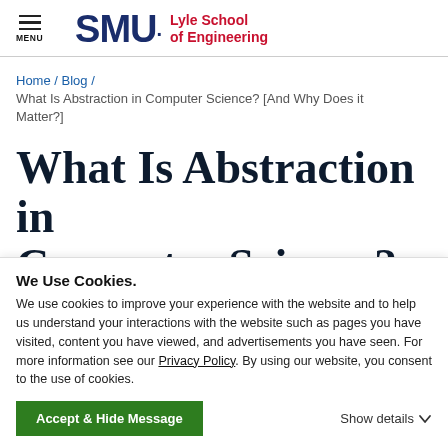SMU Lyle School of Engineering
Home / Blog / What Is Abstraction in Computer Science? [And Why Does it Matter?]
What Is Abstraction in Computer Science? [And
We Use Cookies.
We use cookies to improve your experience with the website and to help us understand your interactions with the website such as pages you have visited, content you have viewed, and advertisements you have seen. For more information see our Privacy Policy. By using our website, you consent to the use of cookies.
Accept & Hide Message
Show details